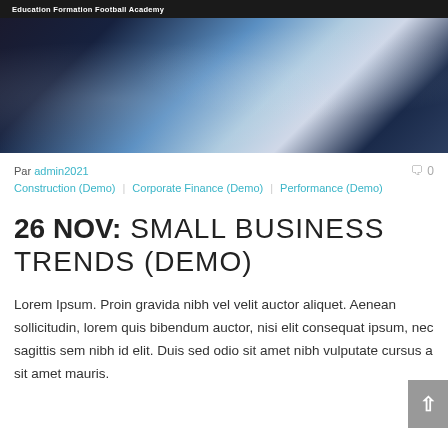Education Formation Football Academy
[Figure (photo): Business professionals looking at blueprints and a tablet; collaborative workplace scene with blue tones]
Par admin2021  🗨 0
Construction (Demo) | Corporate Finance (Demo) | Performance (Demo)
26 NOV: SMALL BUSINESS TRENDS (DEMO)
Lorem Ipsum. Proin gravida nibh vel velit auctor aliquet. Aenean sollicitudin, lorem quis bibendum auctor, nisi elit consequat ipsum, nec sagittis sem nibh id elit. Duis sed odio sit amet nibh vulputate cursus a sit amet mauris.